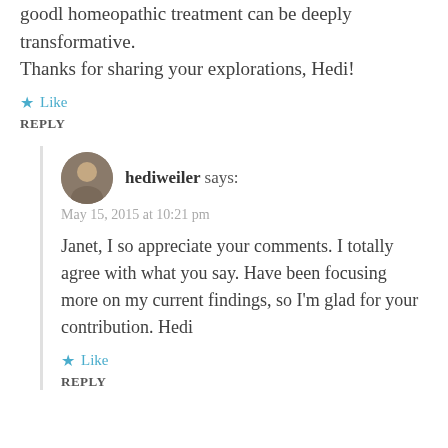goodl homeopathic treatment can be deeply transformative.
Thanks for sharing your explorations, Hedi!
★ Like
REPLY
hediweiler says:
May 15, 2015 at 10:21 pm
Janet, I so appreciate your comments. I totally agree with what you say. Have been focusing more on my current findings, so I'm glad for your contribution. Hedi
★ Like
REPLY